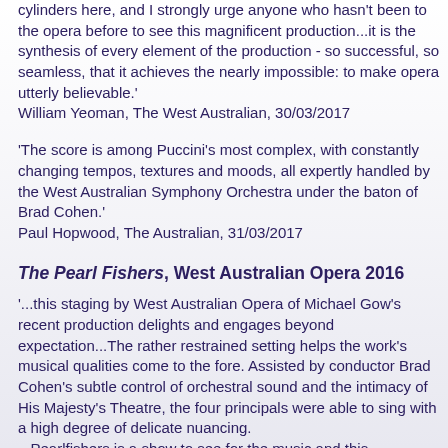cylinders here, and I strongly urge anyone who hasn't been to the opera before to see this magnificent production...it is the synthesis of every element of the production - so successful, so seamless, that it achieves the nearly impossible: to make opera utterly believable.' William Yeoman, The West Australian, 30/03/2017
'The score is among Puccini's most complex, with constantly changing tempos, textures and moods, all expertly handled by the West Australian Symphony Orchestra under the baton of Brad Cohen.' Paul Hopwood, The Australian, 31/03/2017
The Pearl Fishers, West Australian Opera 2016
'...this staging by West Australian Opera of Michael Gow's recent production delights and engages beyond expectation...The rather restrained setting helps the work's musical qualities come to the fore. Assisted by conductor Brad Cohen's subtle control of orchestral sound and the intimacy of His Majesty's Theatre, the four principals were able to sing with a high degree of delicate nuancing. ...Pearlfishers is a show to see for the music and this production excels in delivering a first-rate musical